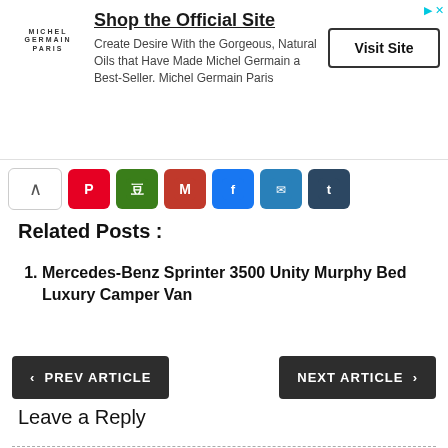[Figure (infographic): Advertisement banner for Michel Germain Paris. Logo on left, heading 'Shop the Official Site', description text, and 'Visit Site' button on right.]
[Figure (infographic): Social share bar with collapse toggle and colored icons: Pinterest (red), Douban (green), Mail (red), Facebook (blue), Envelope (blue), Tumblr (dark blue).]
Related Posts :
Mercedes-Benz Sprinter 3500 Unity Murphy Bed Luxury Camper Van
[Figure (infographic): Navigation buttons: '< PREV ARTICLE' on left and 'NEXT ARTICLE >' on right, both dark gray rounded rectangles.]
Leave a Reply